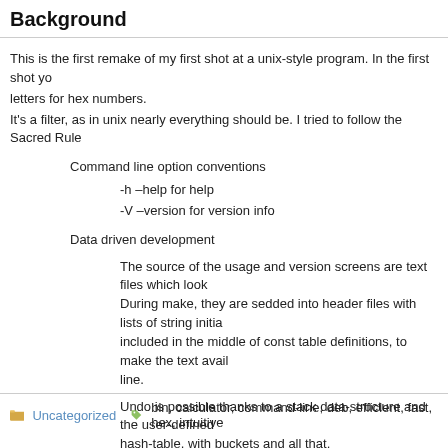Background
This is the first remake of my first shot at a unix-style program. In the first shot yo letters for hex numbers.
It's a filter, as in unix nearly everything should be. I tried to follow the Sacred Rule
Command line option conventions
-h –help for help
-V –version for version info
Data driven development
The source of the usage and version screens are text files which look During make, they are sedded into header files with lists of string initia included in the middle of const table definitions, to make the text avail line.
Undo is possible thanks to a stack data-structure and the user-defined hash-table, with buckets and all that.
Write programs to write programs
I used Lex and Yacc to parse the input and to write the syntax. I can s nearly 40 year old tools can do.
Uncategorized   bin, calculator, command-line, deb, efficient, fast, hex, intuitive